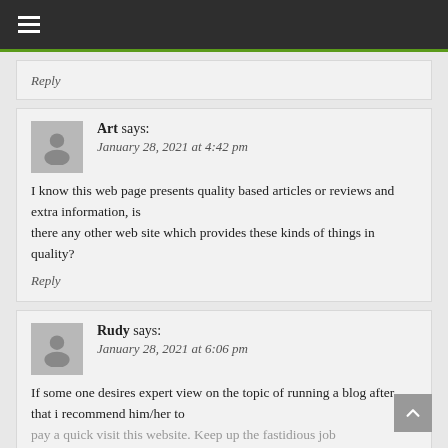≡ (navigation bar)
Reply
Art says:
January 28, 2021 at 4:42 pm
I know this web page presents quality based articles or reviews and extra information, is there any other web site which provides these kinds of things in quality?
Reply
Rudy says:
January 28, 2021 at 6:06 pm
If some one desires expert view on the topic of running a blog after that i recommend him/her to pay a quick visit this website. Keep up the fastidious job